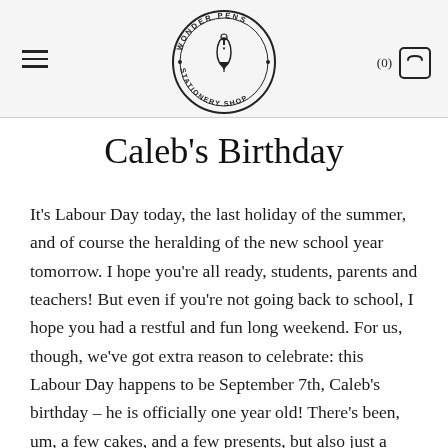Wonder Pens Stationery Shop
Caleb's Birthday
It's Labour Day today, the last holiday of the summer, and of course the heralding of the new school year tomorrow. I hope you're all ready, students, parents and teachers! But even if you're not going back to school, I hope you had a restful and fun long weekend. For us, though, we've got extra reason to celebrate: this Labour Day happens to be September 7th, Caleb's birthday – he is officially one year old! There's been, um, a few cakes, and a few presents, but also just a celebration of a happy and healthy and beautiful